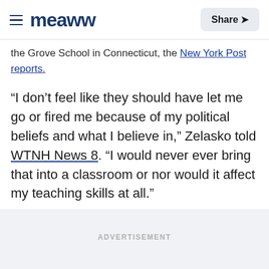Meaww | Share
the Grove School in Connecticut, the New York Post reports.
“I don’t feel like they should have let me go or fired me because of my political beliefs and what I believe in,” Zelasko told WTNH News 8. “I would never ever bring that into a classroom or nor would it affect my teaching skills at all.”
ADVERTISEMENT